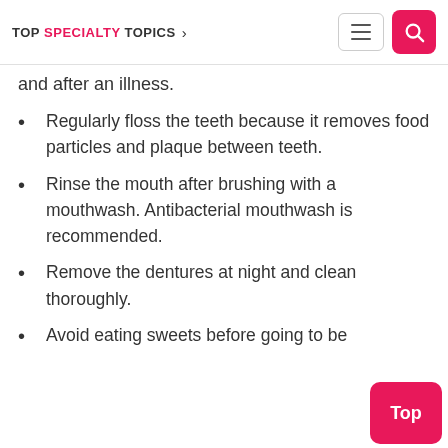TOP SPECIALTY TOPICS >
and after an illness.
Regularly floss the teeth because it removes food particles and plaque between teeth.
Rinse the mouth after brushing with a mouthwash. Antibacterial mouthwash is recommended.
Remove the dentures at night and clean thoroughly.
Avoid eating sweets before going to be